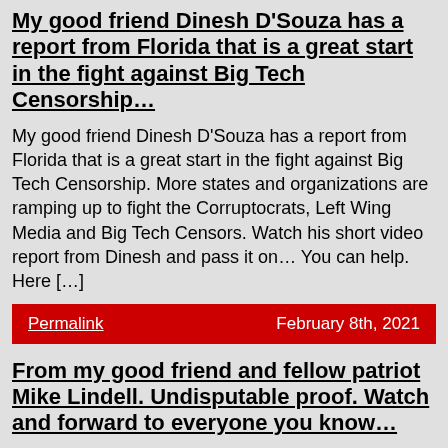My good friend Dinesh D'Souza has a report from Florida that is a great start in the fight against Big Tech Censorship…
My good friend Dinesh D'Souza has a report from Florida that is a great start in the fight against Big Tech Censorship. More states and organizations are ramping up to fight the Corruptocrats, Left Wing Media and Big Tech Censors. Watch his short video report from Dinesh and pass it on… You can help. Here […]
Permalink | February 8th, 2021
From my good friend and fellow patriot Mike Lindell. Undisputable proof. Watch and forward to everyone you know…
Here is another big action step you can take in our fight against the Corruptocrats. Watch my good friend and fellow patriot, Mike Lindell's documentary that lays out